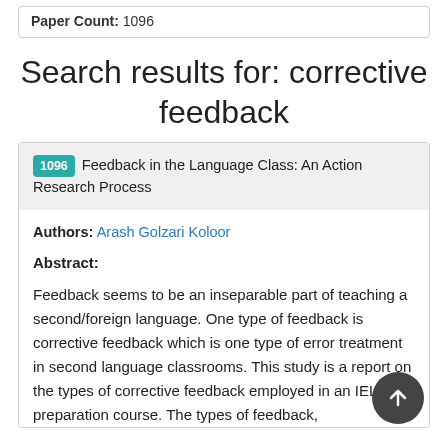Paper Count: 1096
Search results for: corrective feedback
1096 Feedback in the Language Class: An Action Research Process
Authors: Arash Golzari Koloor
Abstract:
Feedback seems to be an inseparable part of teaching a second/foreign language. One type of feedback is corrective feedback which is one type of error treatment in second language classrooms. This study is a report on the types of corrective feedback employed in an IELTS preparation course. The types of feedback,